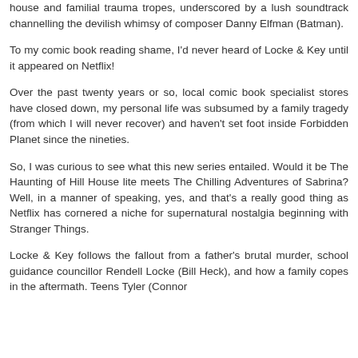house and familial trauma tropes, underscored by a lush soundtrack channelling the devilish whimsy of composer Danny Elfman (Batman).
To my comic book reading shame, I'd never heard of Locke & Key until it appeared on Netflix!
Over the past twenty years or so, local comic book specialist stores have closed down, my personal life was subsumed by a family tragedy (from which I will never recover) and haven't set foot inside Forbidden Planet since the nineties.
So, I was curious to see what this new series entailed. Would it be The Haunting of Hill House lite meets The Chilling Adventures of Sabrina? Well, in a manner of speaking, yes, and that's a really good thing as Netflix has cornered a niche for supernatural nostalgia beginning with Stranger Things.
Locke & Key follows the fallout from a father's brutal murder, school guidance councillor Rendell Locke (Bill Heck), and how a family copes in the aftermath. Teens Tyler (Connor